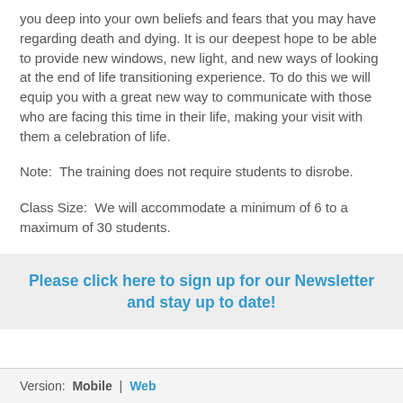you deep into your own beliefs and fears that you may have regarding death and dying. It is our deepest hope to be able to provide new windows, new light, and new ways of looking at the end of life transitioning experience. To do this we will equip you with a great new way to communicate with those who are facing this time in their life, making your visit with them a celebration of life.
Note:  The training does not require students to disrobe.
Class Size:  We will accommodate a minimum of 6 to a maximum of 30 students.
Please click here to sign up for our Newsletter and stay up to date!
Version:  Mobile | Web